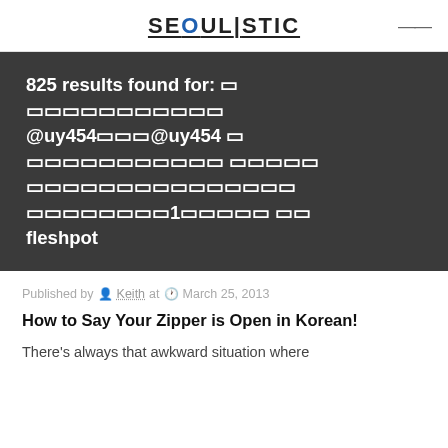SEOULISTIC
825 results found for: □□□□□□□□□□□ @uy454□□□@uy454 □□□□□□□□□□□ □□□□□ □□□□□□□□□□□□□□□ □□□□□□□□□1□□□□□ □□ fleshpot
Published by Keith at March 25, 2013
How to Say Your Zipper is Open in Korean!
There's always that awkward situation where